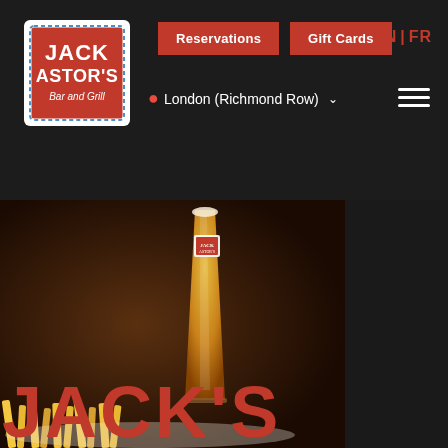[Figure (logo): Jack Astor's Bar and Grill logo — white square with red background, bold white text reading JACK ASTOR'S Bar and Grill]
Reservations
Gift Cards
EN | FR
London (Richmond Row)
[Figure (photo): Photo of a pint glass of beer with a Jack Astor's branded coaster on top, alongside french fries on the lower left, on a dark wooden background]
JACK'S